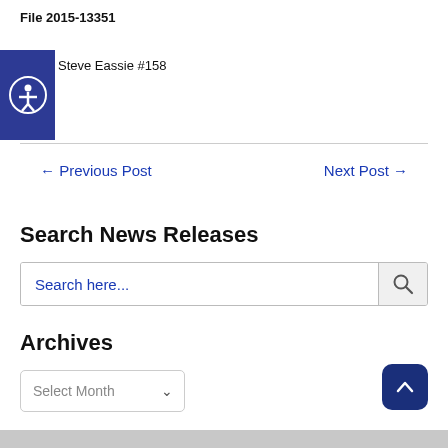File 2015-13351
Steve Eassie #158
← Previous Post
Next Post →
Search News Releases
Search here...
Archives
Select Month